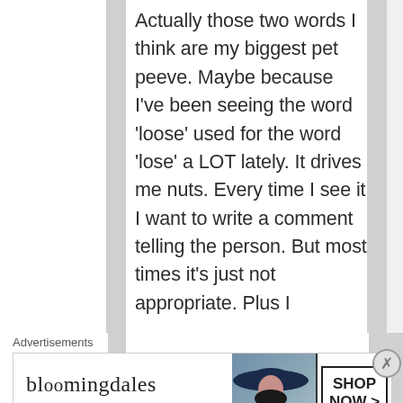Actually those two words I think are my biggest pet peeve. Maybe because I've been seeing the word 'loose' used for the word 'lose' a LOT lately. It drives me nuts. Every time I see it I want to write a comment telling the person. But most times it's just not appropriate. Plus I
Advertisements
[Figure (other): Bloomingdale's advertisement banner: logo text 'bloomingdales', tagline 'View Today's Top Deals!', image of woman in wide-brim hat, SHOP NOW button]